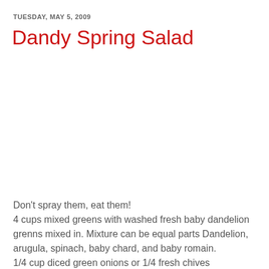TUESDAY, MAY 5, 2009
Dandy Spring Salad
Don't spray them, eat them!
4 cups mixed greens with washed fresh baby dandelion grenns mixed in. Mixture can be equal parts Dandelion, arugula, spinach, baby chard, and baby romain.
1/4 cup diced green onions or 1/4 fresh chives